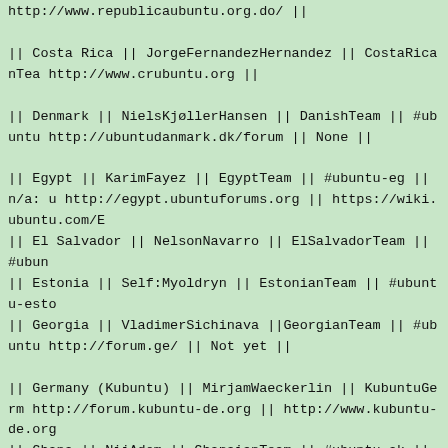http://www.republicaubuntu.org.do/ ||
|| Costa Rica || JorgeFernandezHernandez || CostaRicanTea http://www.crubuntu.org ||
|| Denmark || NielsKjøllerHansen || DanishTeam || #ubuntu http://ubuntudanmark.dk/forum || None ||
|| Egypt || KarimFayez || EgyptTeam || #ubuntu-eg || n/a: u http://egypt.ubuntuforums.org || https://wiki.ubuntu.com/E
|| El Salvador || NelsonNavarro || ElSalvadorTeam || #ubun
|| Estonia || Self:Myoldryn || EstonianTeam || #ubuntu-esto
|| Georgia || VladimerSichinava ||GeorgianTeam || #ubuntu http://forum.ge/ || Not yet ||
|| Germany (Kubuntu) || MirjamWaeckerlin || KubuntuGerm http://forum.kubuntu-de.org || http://www.kubuntu-de.org
|| Ghana || NiiAdom || GhanaianTeam || #ubuntu-ak || kasa http://forums.linuxaccra.org/viewforum.php?f=11 || http://
|| Guatemala || EdgarGiron / JavierAroche || GuatemalaeTe [http://foros.chapinware.com/forums.php?forumid=5 Foros
|| Honduras || CesariusCésarPalma || HondurasTeam || Soo
|| India / Andhra Pradesh || ["Abhinay"] || AndhraPradeshTe http://ubuntu-ap.ubuntuforums.org || Soon https://wiki.ubu
|| Ireland || DueyFinster || IrishTeam || #ubuntu-ie || ubuntu ie.org ||
|| Jamaica || DavidBain || Soon || #ubuntu-jm || Soon || Soo
|| Kenya || RonaldOdere || KenyanTeam || #ubuntu-ke ||